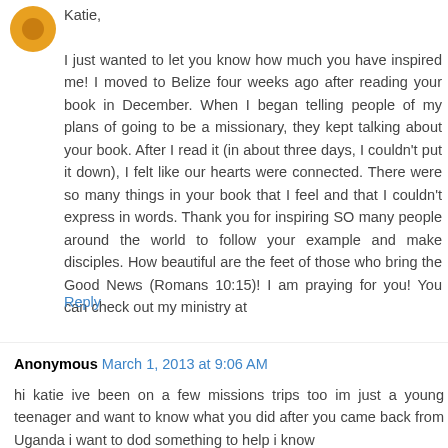[Figure (illustration): Orange circular avatar icon with darker orange circle in center]
Katie,

I just wanted to let you know how much you have inspired me! I moved to Belize four weeks ago after reading your book in December. When I began telling people of my plans of going to be a missionary, they kept talking about your book. After I read it (in about three days, I couldn't put it down), I felt like our hearts were connected. There were so many things in your book that I feel and that I couldn't express in words. Thank you for inspiring SO many people around the world to follow your example and make disciples. How beautiful are the feet of those who bring the Good News (Romans 10:15)! I am praying for you! You can check out my ministry at
Reply
Anonymous March 1, 2013 at 9:06 AM
hi katie ive been on a few missions trips too im just a young teenager and want to know what you did after you came back from Uganda i want to dod something to help i know